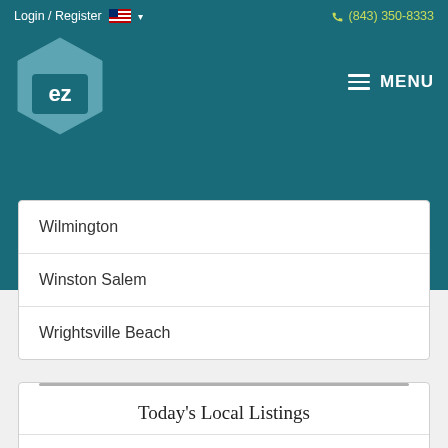Login / Register  (843) 350-8333
[Figure (logo): EZ home logo - hexagon shape with 'ez' text inside]
Wilmington
Winston Salem
Wrightsville Beach
Today's Local Listings
Residential
New Today